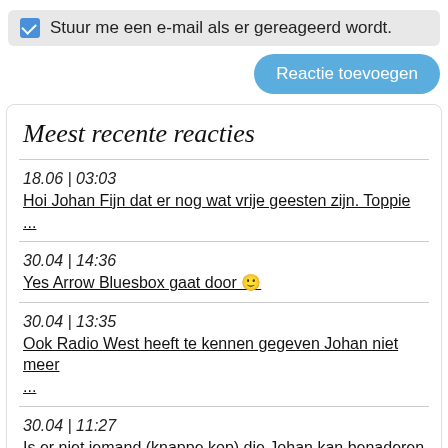Stuur me een e-mail als er gereageerd wordt.
Reactie toevoegen
Meest recente reacties
18.06 | 03:03
Hoi Johan Fijn dat er nog wat vrije geesten zijn. Toppie ...
30.04 | 14:36
Yes Arrow Bluesbox gaat door 🙂
30.04 | 13:35
Ook Radio West heeft te kennen gegeven Johan niet meer ...
30.04 | 11:27
Is er niet iemand (knappe kop) die Johan kan benaderen ...